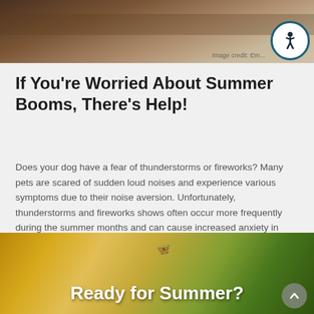[Figure (photo): Close-up photo of a dog resting on a textured surface, warm brown tones]
Image credit: Em...
If You're Worried About Summer Booms, There's Help!
Does your dog have a fear of thunderstorms or fireworks? Many pets are scared of sudden loud noises and experience various symptoms due to their noise aversion. Unfortunately, thunderstorms and fireworks shows often occur more frequently during the summer months and can cause increased anxiety in your pet.
READ MORE
[Figure (photo): Outdoor summer scene with warm golden sunlight through trees, dog visible at bottom, text overlay: Ready for Summer?]